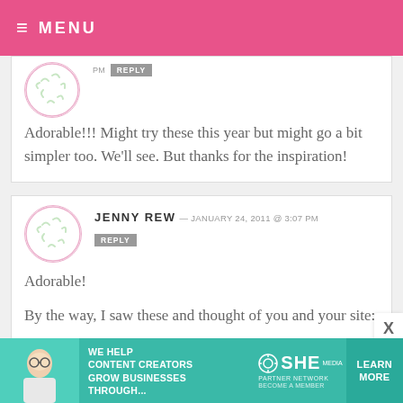MENU
PM  REPLY
Adorable!!! Might try these this year but might go a bit simpler too. We'll see. But thanks for the inspiration!
JENNY REW — JANUARY 24, 2011 @ 3:07 PM
REPLY
Adorable!
By the way, I saw these and thought of you and your site:
[Figure (infographic): SHE Media partner network advertisement: 'We help content creators grow businesses through...' with Learn More button]